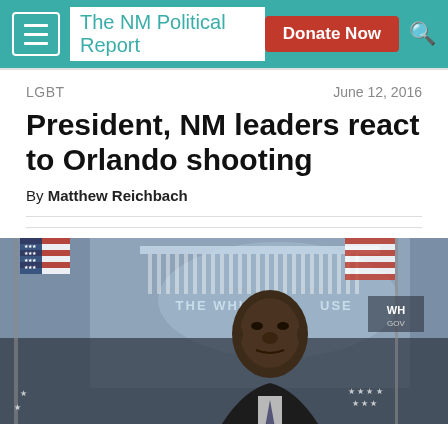The NM Political Report
LGBT   June 12, 2016
President, NM leaders react to Orlando shooting
By Matthew Reichbach
[Figure (photo): President Obama speaking at a White House podium in front of the official White House seal and backdrop reading 'THE WHITE HOUSE WASHINGTON'. An American flag is visible on the left, and a WH.GOV watermark appears in the top right.]